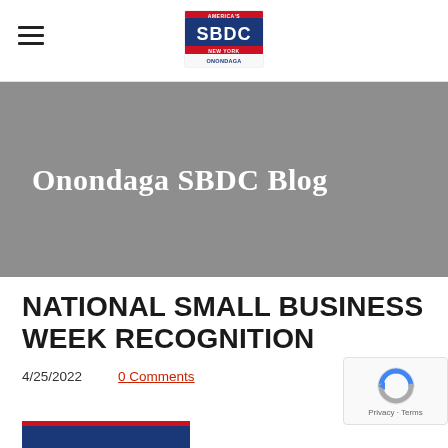Onondaga SBDC (logo navigation bar)
[Figure (logo): America's SBDC New York Onondaga logo centered in nav bar]
Onondaga SBDC Blog
NATIONAL SMALL BUSINESS WEEK RECOGNITION
4/25/2022   0 Comments
[Figure (photo): Partial image of a banner/flag at bottom of page]